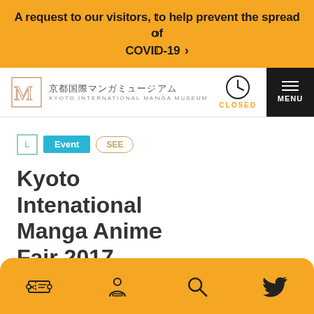A request to our visitors, to help prevent the spread of COVID-19 ›
[Figure (logo): Kyoto International Manga Museum logo with Japanese text 京都国際マンガミュージアム and English text KYOTO INTERNATIONAL MANGA MUSEUM]
CLOSED
MENU
L  Event  SEE
Kyoto Intenational Manga Anime Fair 2017
Extending the